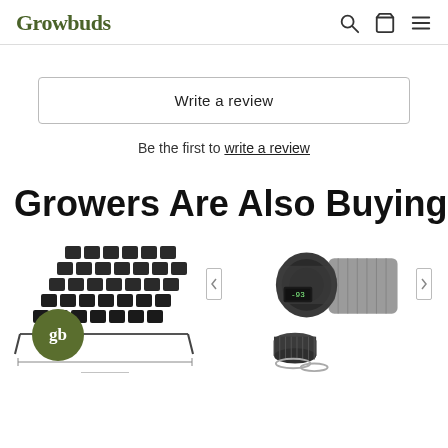Growbuds
Write a review
Be the first to write a review
Growers Are Also Buying
[Figure (photo): Hydroponic growing system with multiple plant sites, shown next to a fan/carbon filter combo kit with ducting and clamps. The Growbuds logo badge overlays the hydroponic system.]